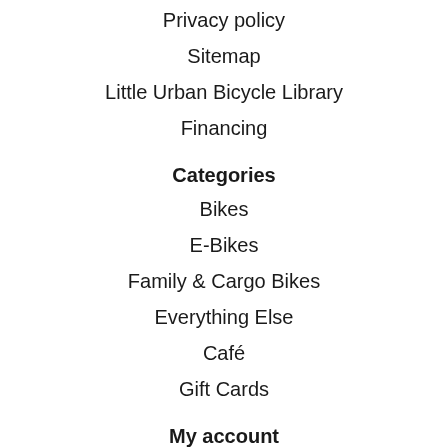Privacy policy
Sitemap
Little Urban Bicycle Library
Financing
Categories
Bikes
E-Bikes
Family & Cargo Bikes
Everything Else
Café
Gift Cards
My account
Register
My orders